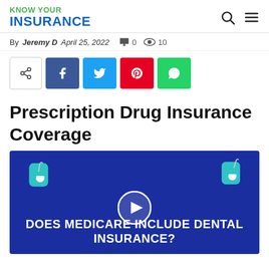KNOW YOUR INSURANCE
By Jeremy D   April 25, 2022   0   10
[Figure (other): Social sharing buttons: share, Facebook, Twitter, Pinterest, WhatsApp]
Prescription Drug Insurance Coverage
[Figure (other): Video thumbnail with dark blue background showing dental floss icons and text: DOES MEDICARE INCLUDE DENTAL INSURANCE? with a play button in the center]